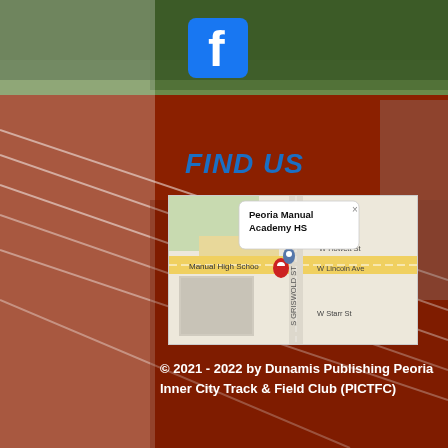[Figure (logo): Facebook logo - blue square with white lowercase f]
FIND US
[Figure (map): Google Maps screenshot showing Peoria Manual Academy HS location with red pin marker, streets including W Howett St, W Lincoln Ave, S Griswold St, W Starr St, and Manual High School label]
© 2021 - 2022  by Dunamis Publishing Peoria Inner City Track & Field Club (PICTFC)